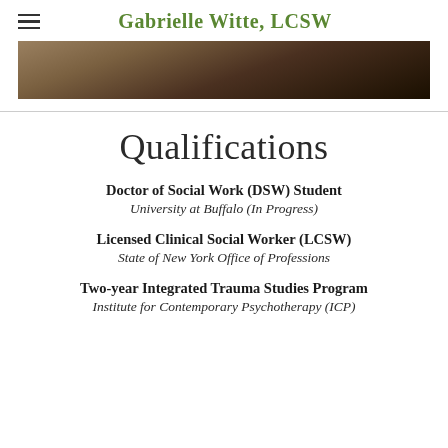Gabrielle Witte, LCSW
[Figure (photo): Partial hero/banner image, dark warm-toned photograph, cropped at top]
Qualifications
Doctor of Social Work (DSW) Student
University at Buffalo (In Progress)
Licensed Clinical Social Worker (LCSW)
State of New York Office of Professions
Two-year Integrated Trauma Studies Program
Institute for Contemporary Psychotherapy (ICP)